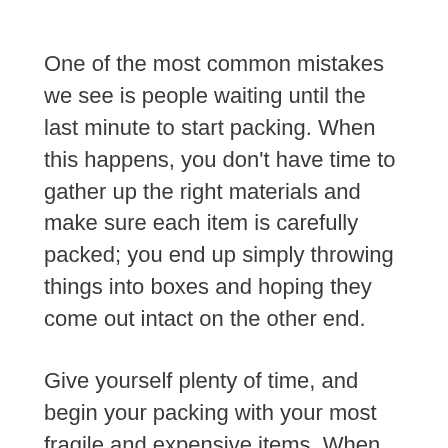One of the most common mistakes we see is people waiting until the last minute to start packing. When this happens, you don't have time to gather up the right materials and make sure each item is carefully packed; you end up simply throwing things into boxes and hoping they come out intact on the other end.
Give yourself plenty of time, and begin your packing with your most fragile and expensive items. When you start with fragile and expensive items, you can make sure that you're using the most appropriate boxes and packing materials for the items that require the most care. If you have to throw towels into an old laundry basket at the end, nothing will be hurt. But if you have